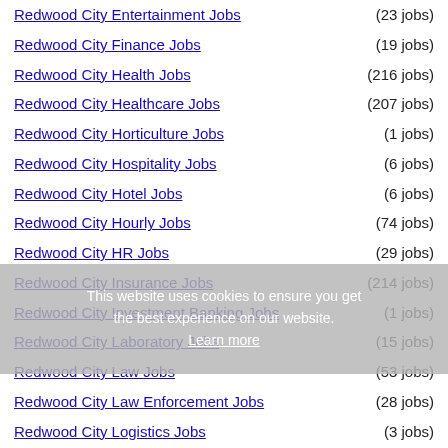Redwood City Entertainment Jobs (23 jobs)
Redwood City Finance Jobs (19 jobs)
Redwood City Health Jobs (216 jobs)
Redwood City Healthcare Jobs (207 jobs)
Redwood City Horticulture Jobs (1 jobs)
Redwood City Hospitality Jobs (6 jobs)
Redwood City Hotel Jobs (6 jobs)
Redwood City Hourly Jobs (74 jobs)
Redwood City HR Jobs (29 jobs)
Redwood City Insurance Jobs (214 jobs)
Redwood City Investment Banking Jobs (1 jobs)
Redwood City Laboratory Jobs (15 jobs)
Redwood City Law Jobs (53 jobs)
Redwood City Law Enforcement Jobs (28 jobs)
Redwood City Logistics Jobs (3 jobs)
Redwood City Maintenance Jobs (29 jobs)
Redwood City Management Jobs (140 jobs)
Redwood City Manufacturing Jobs (23 jobs)
Redwood City Marketing Jobs (34 jobs)
Redwood City Medical Jobs (302 jobs)